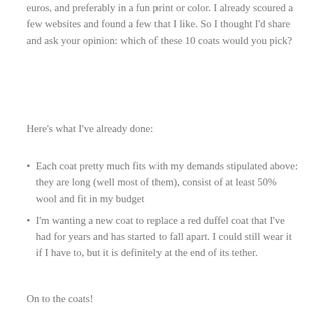euros, and preferably in a fun print or color. I already scoured a few websites and found a few that I like. So I thought I'd share and ask your opinion: which of these 10 coats would you pick?
Here's what I've already done:
Each coat pretty much fits with my demands stipulated above: they are long (well most of them), consist of at least 50% wool and fit in my budget
I'm wanting a new coat to replace a red duffel coat that I've had for years and has started to fall apart. I could still wear it if I have to, but it is definitely at the end of its tether.
On to the coats!